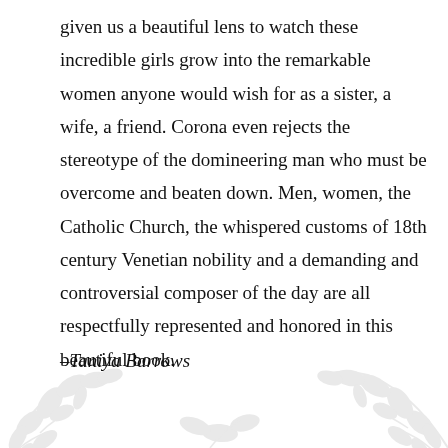given us a beautiful lens to watch these incredible girls grow into the remarkable women anyone would wish for as a sister, a wife, a friend. Corona even rejects the stereotype of the domineering man who must be overcome and beaten down. Men, women, the Catholic Church, the whispered customs of 18th century Venetian nobility and a demanding and controversial composer of the day are all respectfully represented and honored in this beautiful book.
–Taniya Barrows
[Figure (illustration): Decorative botanical illustration of leaves and branches in light gray, positioned in the bottom portion of the page.]